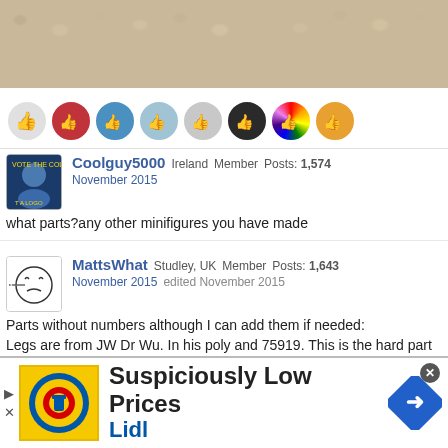[Figure (photo): Blurred close-up photo of a textured fabric or carpet surface in beige/tan tones]
[Figure (illustration): Row of 8 reaction/like icons showing various user avatars with thumbs up overlays]
Coolguy5000  Ireland  Member  Posts: 1,574
November 2015
what parts?any other minifigures you have made
MattsWhat  Studley, UK  Member  Posts: 1,643
November 2015  edited November 2015
Parts without numbers although I can add them if needed:
Legs are from JW Dr Wu. In his poly and 75919. This is the hard part to get, everything else is in stock on B&P I think.
[Figure (screenshot): Lidl advertisement banner: 'Suspiciously Low Prices / Lidl' with Lidl logo and blue road sign icon]